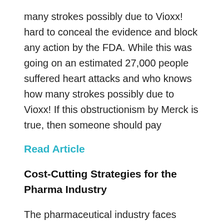many strokes possibly due to Vioxx! hard to conceal the evidence and block any action by the FDA. While this was going on an estimated 27,000 people suffered heart attacks and who knows how many strokes possibly due to Vioxx! If this obstructionism by Merck is true, then someone should pay
Read Article
Cost-Cutting Strategies for the Pharma Industry
The pharmaceutical industry faces many challenges ahead including blockbusters going off